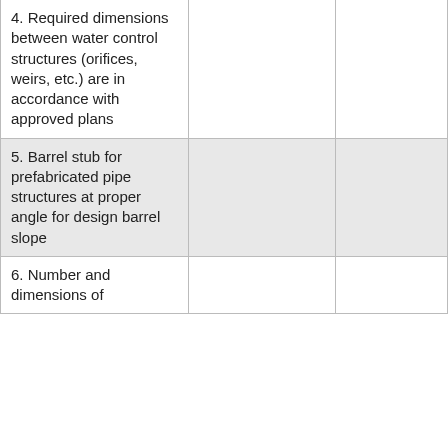| 4. Required dimensions between water control structures (orifices, weirs, etc.) are in accordance with approved plans |  |  |
| 5. Barrel stub for prefabricated pipe structures at proper angle for design barrel slope |  |  |
| 6. Number and dimensions of |  |  |